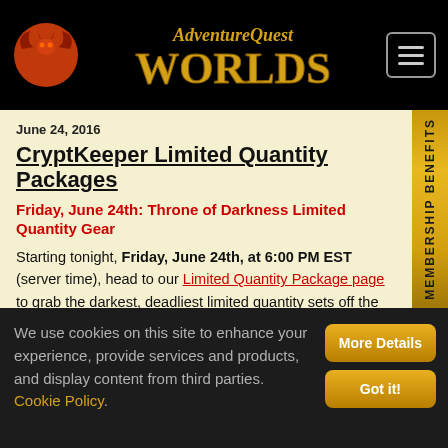AdventureQuest Worlds — navigation header
June 24, 2016
CryptKeeper Limited Quantity Packages
Friday, June 24th: Throne of Darkness Limited Quantity Gear
Starting tonight, Friday, June 24th, at 6:00 PM EST (server time), head to our Limited Quantity Package page to grab the darkest, deadliest limited quantity sets off the year! Only a few heroes in AQWorlds will ever be able to equip them, which means once the
We use cookies on this site to enhance your experience, provide services and products, and display content from third parties. Cookie Policy.